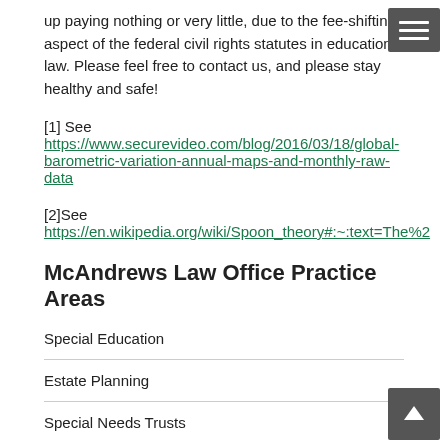up paying nothing or very little, due to the fee-shifting aspect of the federal civil rights statutes in education law. Please feel free to contact us, and please stay healthy and safe!
[1] See https://www.securevideo.com/blog/2016/03/18/global-barometric-variation-annual-maps-and-monthly-raw-data
[2]See https://en.wikipedia.org/wiki/Spoon_theory#:~:text=The%2
McAndrews Law Office Practice Areas
Special Education
Estate Planning
Special Needs Trusts